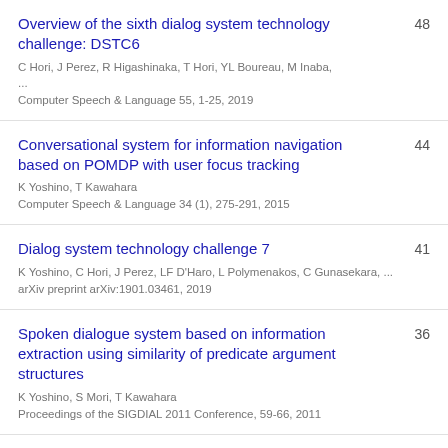Overview of the sixth dialog system technology challenge: DSTC6 | C Hori, J Perez, R Higashinaka, T Hori, YL Boureau, M Inaba, ... | Computer Speech & Language 55, 1-25, 2019 | 48
Conversational system for information navigation based on POMDP with user focus tracking | K Yoshino, T Kawahara | Computer Speech & Language 34 (1), 275-291, 2015 | 44
Dialog system technology challenge 7 | K Yoshino, C Hori, J Perez, LF D'Haro, L Polymenakos, C Gunasekara, ... | arXiv preprint arXiv:1901.03461, 2019 | 41
Spoken dialogue system based on information extraction using similarity of predicate argument structures | K Yoshino, S Mori, T Kawahara | Proceedings of the SIGDIAL 2011 Conference, 59-66, 2011 | 36